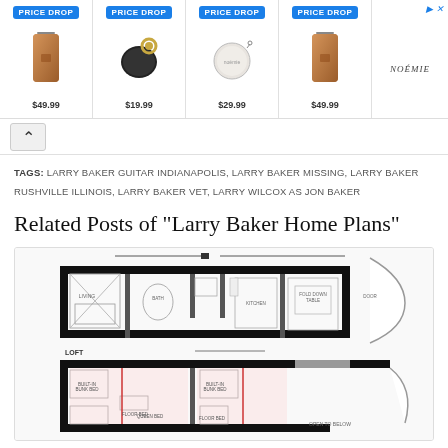[Figure (screenshot): Advertisement banner with 4 product items each labeled PRICE DROP. Items show leather bags ($49.99), AirPod case ($19.99), round coin purse ($29.99), and another leather bag ($49.99). Noemie brand logo on right.]
TAGS: LARRY BAKER GUITAR INDIANAPOLIS, LARRY BAKER MISSING, LARRY BAKER RUSHVILLE ILLINOIS, LARRY BAKER VET, LARRY WILCOX AS JON BAKER
Related Posts of "Larry Baker Home Plans"
[Figure (engineering-diagram): Architectural floor plan showing two levels: upper floor with rooms and lower LOFT area with open space. Black walls, room labels, and architectural symbols.]
Tiny Home Designs Floor Plans